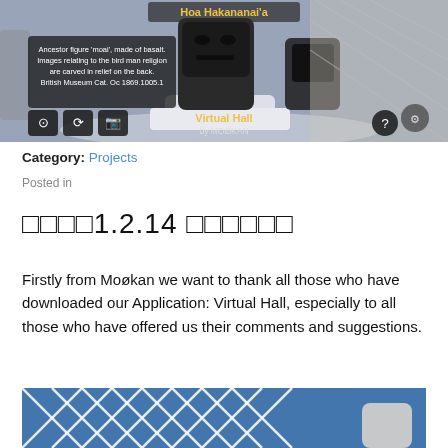[Figure (screenshot): Screenshot of a virtual museum application showing a large dark stone moai ancestor figure on a display pedestal in a futuristic hall. An overlay label reads 'Hoa Hakananai'a' in yellow, and a text box reads 'Ancestor figure moai, made of basalt. Images relating to the bird man religion are carved in relief on the back. British Museum Cat. Oc 1869.1005.1'. Navigation icons visible at bottom left and a help icon at bottom right. Branding 'by MOØKAN' at bottom center.]
Category: Projects
Posted in
□□□□1.2.14 □□□□□□
Firstly from Moøkan we want to thank all those who have downloaded our Application: Virtual Hall, especially to all those who have offered us their comments and suggestions.
[Figure (screenshot): Partial screenshot of a virtual hall showing a white geometric lattice ceiling/wall structure with blue background, and a partial figure visible at bottom right.]